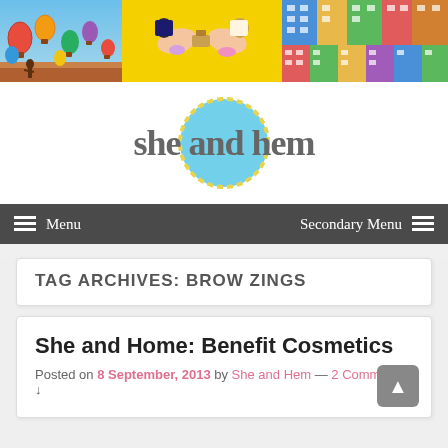[Figure (photo): Website header banner with three images: hot air balloons in blue sky, two women lying on yellow background, colorful apartment buildings]
[Figure (logo): She and Hem blog logo: text 'she and hem' in bold serif with a light blue circle with yellow dashed border overlapping the word 'and']
Menu   Secondary Menu
TAG ARCHIVES: BROW ZINGS
She and Home: Benefit Cosmetics
Posted on 8 September, 2013 by She and Hem — 2 Comments ↓